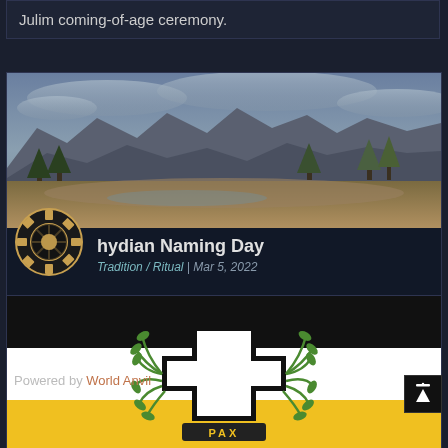Julim coming-of-age ceremony.
[Figure (photo): Landscape photo showing mountains, trees and a dry riverbed under a cloudy sky]
hydian Naming Day
Tradition / Ritual | Mar 5, 2022
[Figure (illustration): Flag with black, white and yellow horizontal stripes, featuring a black iron cross with a laurel wreath and PAX banner in the center]
Powered by World Anvil